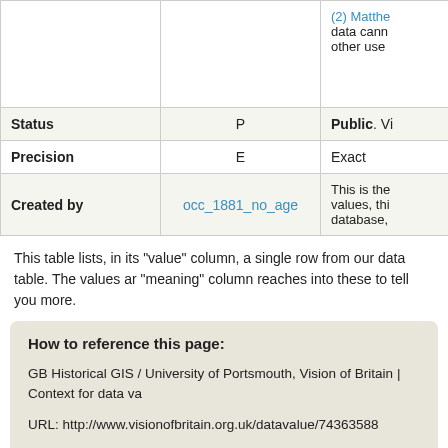|  | Value | Meaning |
| --- | --- | --- |
|  | (2) Matthe
data cann
other use |  |
| Status | P | Public. Vi |
| Precision | E | Exact |
| Created by | occ_1881_no_age | This is the
values, thi
database, |
This table lists, in its "value" column, a single row from our data table. The values ar "meaning" column reaches into these to tell you more.
How to reference this page:
GB Historical GIS / University of Portsmouth, Vision of Britain | Context for data va
URL: http://www.visionofbritain.org.uk/datavalue/74363588
Date accessed: 24th August 2022